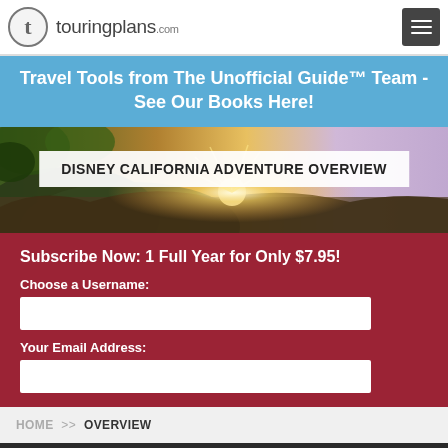touringplans.com
Travel Tools from The Unofficial Guide™ Team  -  See Our Books Here!
[Figure (photo): Disney California Adventure landscape photo with sun flare over rocky terrain and lush vegetation, purple sky in background. Overlaid title box reads: DISNEY CALIFORNIA ADVENTURE OVERVIEW]
Subscribe Now: 1 Full Year for Only $7.95!
Choose a Username:
Your Email Address:
HOME >> OVERVIEW
Share It! Share